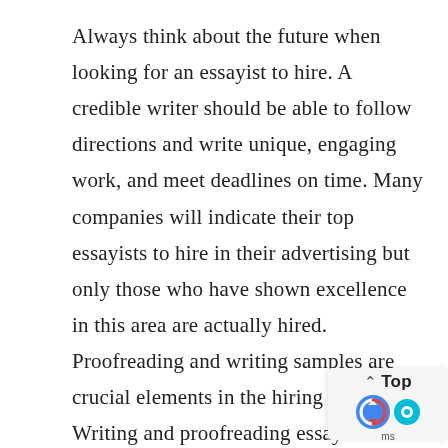Always think about the future when looking for an essayist to hire. A credible writer should be able to follow directions and write unique, engaging work, and meet deadlines on time. Many companies will indicate their top essayists to hire in their advertising but only those who have shown excellence in this area are actually hired. Proofreading and writing samples are crucial elements in the hiring process. Writing and proofreading essays is a further crucial step. You should never hire an author without first reviewing and reading their writing.

Academic writers are familiar with the distinctive ways students communicate their